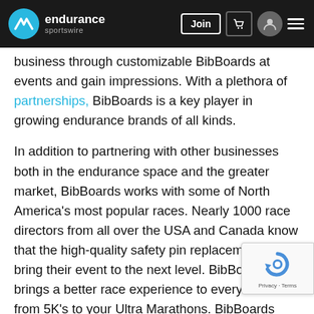endurance sportswire — navigation bar with Join button, cart, profile, and menu icons
business through customizable BibBoards at events and gain impressions. With a plethora of partnerships, BibBoards is a key player in growing endurance brands of all kinds.
In addition to partnering with other businesses both in the endurance space and the greater market, BibBoards works with some of North America's most popular races. Nearly 1000 race directors from all over the USA and Canada know that the high-quality safety pin replacement can bring their event to the next level. BibBoards brings a better race experience to every race from 5K's to your Ultra Marathons. BibBoards keep the course free of safety pins and make the entire race more sustainable. Racers love the quality while sponsors